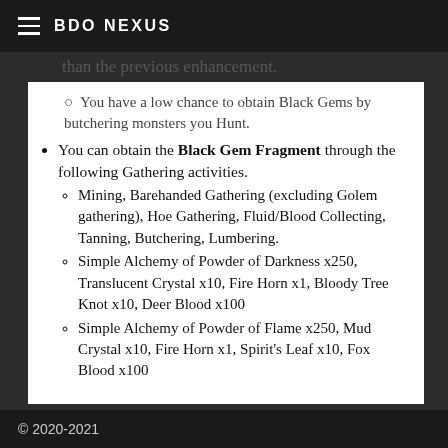BDO NEXUS
than the previous enhancement.
You have a low chance to obtain Black Gems by butchering monsters you Hunt.
You can obtain the Black Gem Fragment through the following Gathering activities.
Mining, Barehanded Gathering (excluding Golem gathering), Hoe Gathering, Fluid/Blood Collecting, Tanning, Butchering, Lumbering.
Simple Alchemy of Powder of Darkness x250, Translucent Crystal x10, Fire Horn x1, Bloody Tree Knot x10, Deer Blood x100
Simple Alchemy of Powder of Flame x250, Mud Crystal x10, Fire Horn x1, Spirit's Leaf x10, Fox Blood x100
© 2020-2021